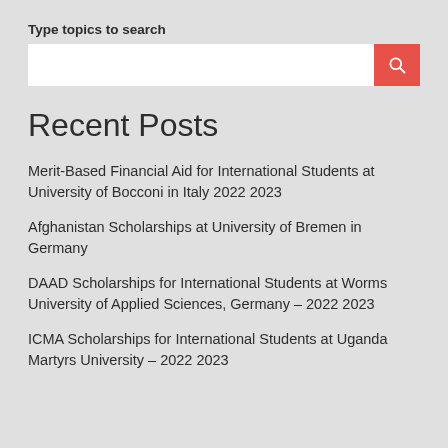Type topics to search
Recent Posts
Merit-Based Financial Aid for International Students at University of Bocconi in Italy 2022 2023
Afghanistan Scholarships at University of Bremen in Germany
DAAD Scholarships for International Students at Worms University of Applied Sciences, Germany – 2022 2023
ICMA Scholarships for International Students at Uganda Martyrs University – 2022 2023